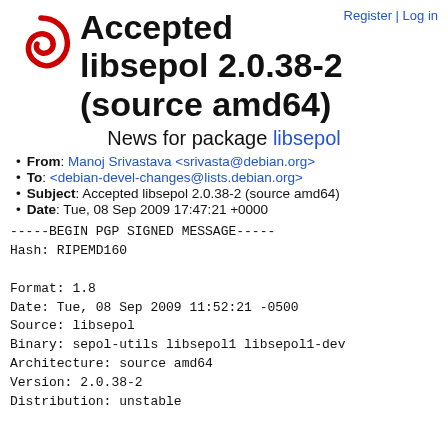Register | Log in
Accepted libsepol 2.0.38-2 (source amd64)
News for package libsepol
From: Manoj Srivastava <srivasta@debian.org>
To: <debian-devel-changes@lists.debian.org>
Subject: Accepted libsepol 2.0.38-2 (source amd64)
Date: Tue, 08 Sep 2009 17:47:21 +0000
-----BEGIN PGP SIGNED MESSAGE-----
Hash: RIPEMD160

Format: 1.8
Date: Tue, 08 Sep 2009 11:52:21 -0500
Source: libsepol
Binary: sepol-utils libsepol1 libsepol1-dev
Architecture: source amd64
Version: 2.0.38-2
Distribution: unstable